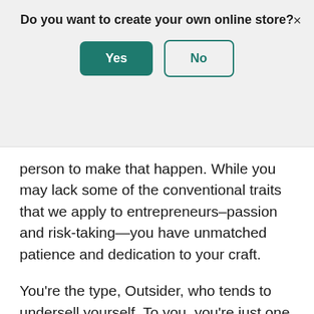Do you want to create your own online store?
[Figure (screenshot): Modal dialog with Yes (green filled button) and No (green outlined button) options, and an X close button in the top right.]
person to make that happen. While you may lack some of the conventional traits that we apply to entrepreneurs–passion and risk-taking—you have unmatched patience and dedication to your craft.
You're the type, Outsider, who tends to undersell yourself. To you, you're just one person making a living doing what you're good at. But your entrepreneur story is one of the oldest—the roots of entrepreneurship and early trade were motivated by necessity.